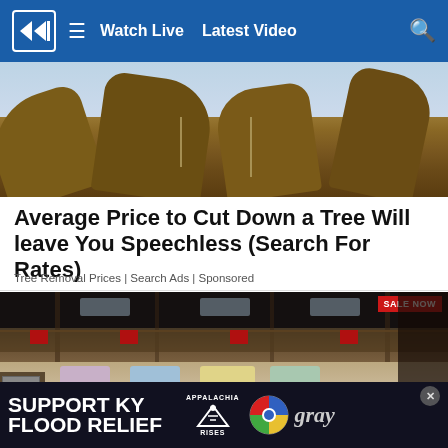Watch Live  Latest Video
[Figure (photo): Close-up of large tree branches/trunks against a blue sky]
Average Price to Cut Down a Tree Will leave You Speechless (Search For Rates)
Tree Removal Prices | Search Ads | Sponsored
[Figure (photo): Interior of a large furniture warehouse showroom with sofas and a 'SALE NOW' banner]
SUPPORT KY FLOOD RELIEF  APPALACHIA RISES  gray